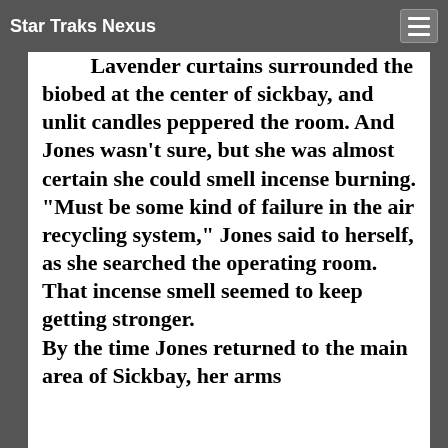Star Traks Nexus
Lavender curtains surrounded the biobed at the center of sickbay, and unlit candles peppered the room. And Jones wasn't sure, but she was almost certain she could smell incense burning.
“Must be some kind of failure in the air recycling system,” Jones said to herself, as she searched the operating room.

That incense smell seemed to keep getting stronger.

By the time Jones returned to the main area of Sickbay, her arms